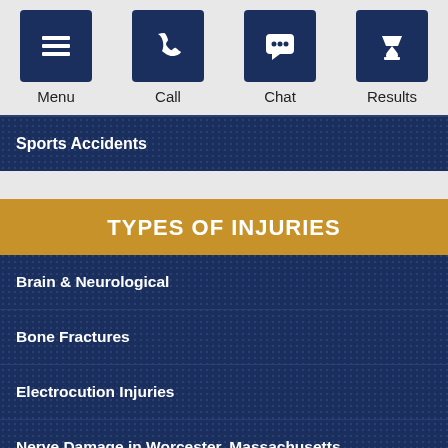Menu | Call | Chat | Results
Sports Accidents
TYPES OF INJURIES
Brain & Neurological
Bone Fractures
Electrocution Injuries
Nerve Damage in Worcester, Massachusetts
Spinal Cord Injuries (SCI)